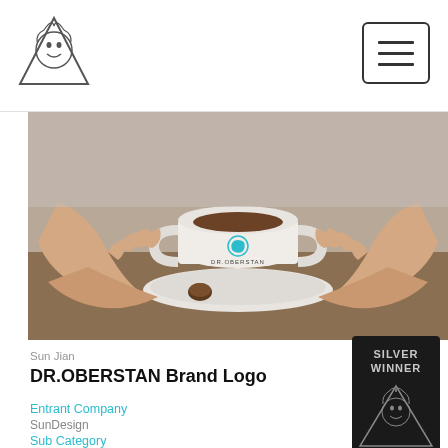[Figure (logo): Website header with triangular logo featuring a face illustration and hamburger menu button on the right]
[Figure (photo): Hands holding a white coffee cup with DR.OBERSTAN logo on a saucer with chocolate truffle, on a wooden table]
Sun Jian
DR.OBERSTAN Brand Logo
[Figure (logo): Silver Winner badge/seal with decorative triangular design and face illustration]
Entrant Company
SunDesign
Sub Category